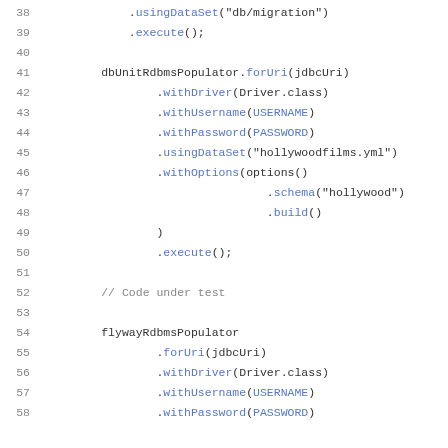[Figure (screenshot): Code listing showing lines 38-58 of a Java/Groovy test setup method with dbUnitRdbmsPopulator and flywayRdbmsPopulator builder-pattern calls, including method chains for forUri, withDriver, withUsername, withPassword, usingDataSet, withOptions, schema, build, execute, and a comment '// Code under test'.]